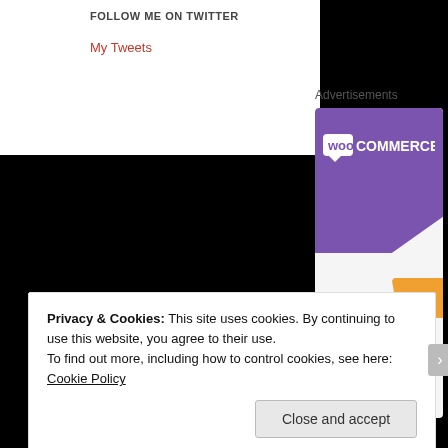FOLLOW ME ON TWITTER
My Tweets
Advertisements
[Figure (logo): WooCommerce advertisement card with purple header containing WooCommerce logo, an orange shape, and text 'How to start selling subscriptions']
Privacy & Cookies: This site uses cookies. By continuing to use this website, you agree to their use.
To find out more, including how to control cookies, see here: Cookie Policy
Close and accept